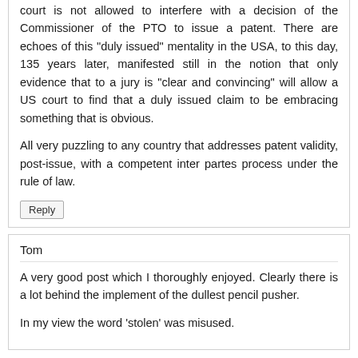court is not allowed to interfere with a decision of the Commissioner of the PTO to issue a patent. There are echoes of this "duly issued" mentality in the USA, to this day, 135 years later, manifested still in the notion that only evidence that to a jury is "clear and convincing" will allow a US court to find that a duly issued claim to be embracing something that is obvious.
All very puzzling to any country that addresses patent validity, post-issue, with a competent inter partes process under the rule of law.
Reply
Tom
A very good post which I thoroughly enjoyed. Clearly there is a lot behind the implement of the dullest pencil pusher.
In my view the word 'stolen' was misused.